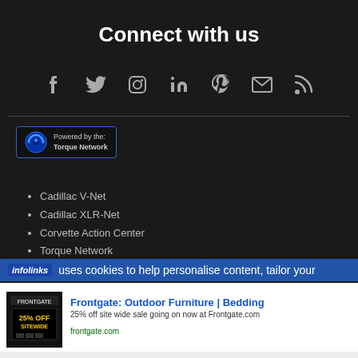Connect with us
[Figure (infographic): Row of social media icons: Facebook, Twitter, Instagram, LinkedIn, Pinterest, Email/Envelope, RSS feed]
[Figure (logo): Powered by the Torque Network badge with blue power icon]
Cadillac V-Net
Cadillac XLR-Net
Corvette Action Center
Torque Network
Torque Shop
VetteTube
infolinks uses cookies to help personalise content, tailor your
Frontgate: Outdoor Furniture | Bedding
25% off site wide sale going on now at Frontgate.com
frontgate.com